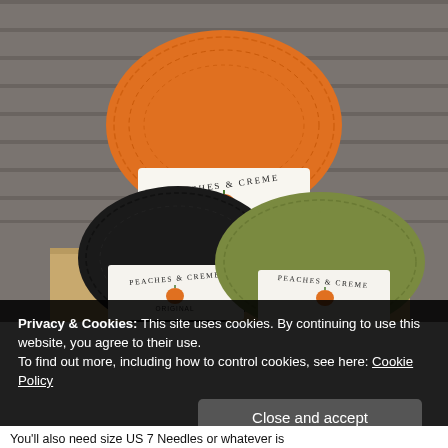[Figure (photo): Three skeins of Peaches & Creme Original yarn stacked together — one orange on top, one black and one olive green below — photographed on a wooden surface against a gray wooden siding background.]
Privacy & Cookies: This site uses cookies. By continuing to use this website, you agree to their use.
To find out more, including how to control cookies, see here: Cookie Policy
Close and accept
You'll also need size US 7 Needles or whatever is